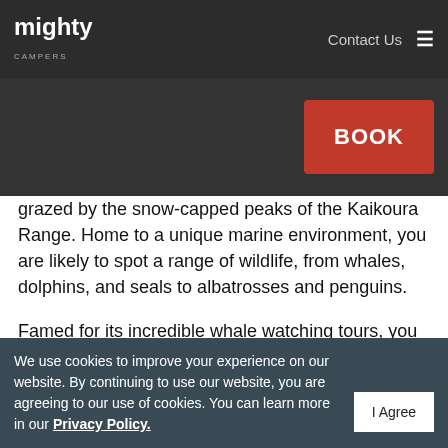mighty CAMPERS — Contact Us ☰
grazed by the snow-capped peaks of the Kaikoura Range. Home to a unique marine environment, you are likely to spot a range of wildlife, from whales, dolphins, and seals to albatrosses and penguins.
Famed for its incredible whale watching tours, you can also explore a range of other activities including incredible walking tracks, delicious local seafood and kayak tours.
Designed especially for whale watching, modern boats are equipped with engines that minimise underwater noise so they are quieter for marine mammals. This
We use cookies to improve your experience on our website. By continuing to use our website, you are agreeing to our use of cookies. You can learn more in our Privacy Policy. | I Agree